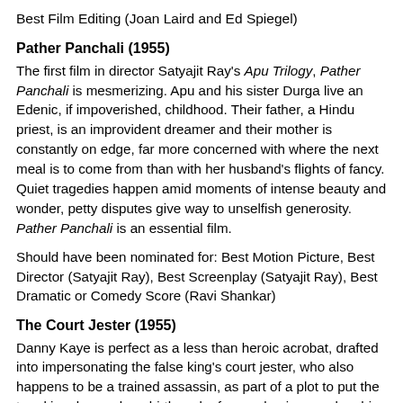Best Film Editing (Joan Laird and Ed Spiegel)
Pather Panchali (1955)
The first film in director Satyajit Ray's Apu Trilogy, Pather Panchali is mesmerizing. Apu and his sister Durga live an Edenic, if impoverished, childhood. Their father, a Hindu priest, is an improvident dreamer and their mother is constantly on edge, far more concerned with where the next meal is to come from than with her husband's flights of fancy. Quiet tragedies happen amid moments of intense beauty and wonder, petty disputes give way to unselfish generosity. Pather Panchali is an essential film.
Should have been nominated for: Best Motion Picture, Best Director (Satyajit Ray), Best Screenplay (Satyajit Ray), Best Dramatic or Comedy Score (Ravi Shankar)
The Court Jester (1955)
Danny Kaye is perfect as a less than heroic acrobat, drafted into impersonating the false king's court jester, who also happens to be a trained assassin, as part of a plot to put the true king, known by a birthmark of a purple pimpernel on his